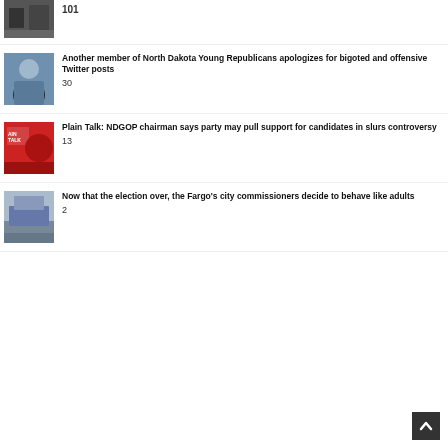[Figure (photo): Thumbnail image, partially visible at top]
101
[Figure (photo): Portrait photo of a young man]
Another member of North Dakota Young Republicans apologizes for bigoted and offensive Twitter posts
30
[Figure (photo): Red political signage with 'PLAIN TALK' text]
Plain Talk: NDGOP chairman says party may pull support for candidates in slurs controversy
13
[Figure (photo): Outdoor building/parking lot scene]
Now that the election over, the Fargo's city commissioners decide to behave like adults
2